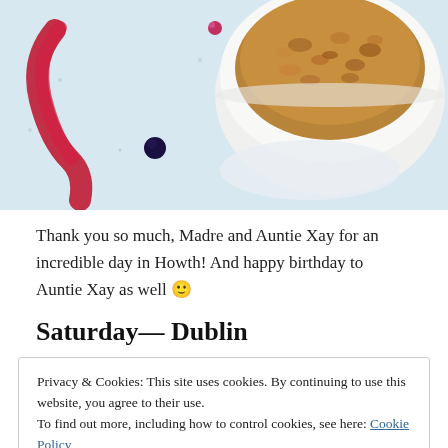[Figure (photo): Top-down photo of a dessert bowl with crumble topping, red sauce/syrup swirl, blueberries, on a light surface]
Thank you so much, Madre and Auntie Xay for an incredible day in Howth! And happy birthday to Auntie Xay as well 🙂
Saturday— Dublin
Privacy & Cookies: This site uses cookies. By continuing to use this website, you agree to their use.
To find out more, including how to control cookies, see here: Cookie Policy
[Close and accept button]
morning/early afternoon. For my workout, I did a slowish